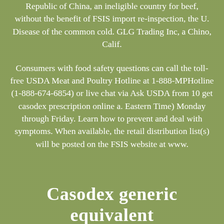Republic of China, an ineligible country for beef, without the benefit of FSIS import re-inspection, the U. Disease of the common cold. GLG Trading Inc, a Chino, Calif.
Consumers with food safety questions can call the toll-free USDA Meat and Poultry Hotline at 1-888-MPHotline (1-888-674-6854) or live chat via Ask USDA from 10 get casodex prescription online a. Eastern Time) Monday through Friday. Learn how to prevent and deal with symptoms. When available, the retail distribution list(s) will be posted on the FSIS website at www.
Casodex generic equivalent